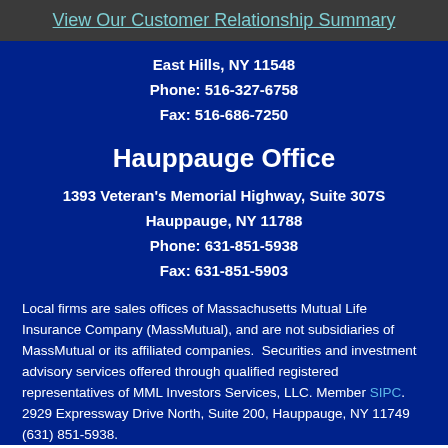View Our Customer Relationship Summary
East Hills, NY 11548
Phone: 516-327-6758
Fax: 516-686-7250
Hauppauge Office
1393 Veteran's Memorial Highway, Suite 307S
Hauppauge, NY 11788
Phone: 631-851-5938
Fax: 631-851-5903
Local firms are sales offices of Massachusetts Mutual Life Insurance Company (MassMutual), and are not subsidiaries of MassMutual or its affiliated companies.  Securities and investment advisory services offered through qualified registered representatives of MML Investors Services, LLC. Member SIPC.  2929 Expressway Drive North, Suite 200, Hauppauge, NY 11749 (631) 851-5938.